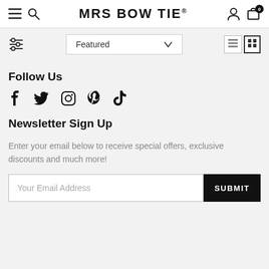MRS BOW TIE®
Follow Us
[Figure (other): Social media icons: Facebook, Twitter, Instagram, Pinterest, TikTok]
Newsletter Sign Up
Enter your email below to receive special offers, exclusive discounts and much more!
Your Email Address | SUBMIT